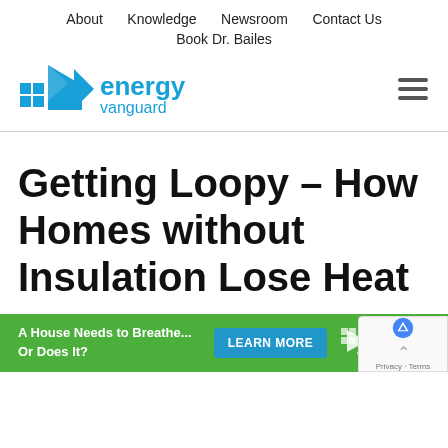About   Knowledge   Newsroom   Contact Us   Book Dr. Bailes
[Figure (logo): Energy Vanguard logo — blue arrow/house icon with 'energy vanguard' text in blue]
Getting Loopy – How Homes without Insulation Lose Heat
[Figure (infographic): Green banner advertisement: 'A House Needs to Breathe... Or Does It?' with a blue 'LEARN MORE' button and Energy Vanguard logo, with a reCAPTCHA widget overlay in the bottom right]